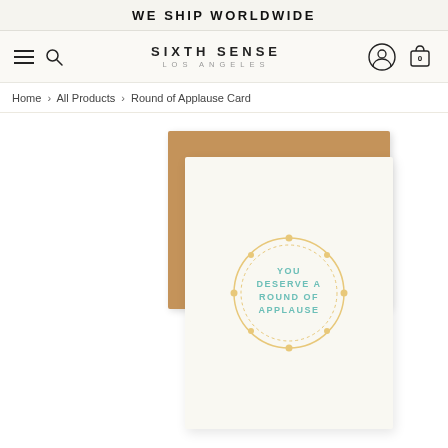WE SHIP WORLDWIDE
[Figure (screenshot): Navigation bar with hamburger menu, search icon, Sixth Sense Los Angeles logo, user account icon, and shopping bag icon showing 0 items]
Home > All Products > Round of Applause Card
[Figure (photo): Product photo showing a white greeting card with a circular decorative border design containing teal text that reads YOU DESERVE A ROUND OF APPLAUSE, leaning against a kraft brown envelope]